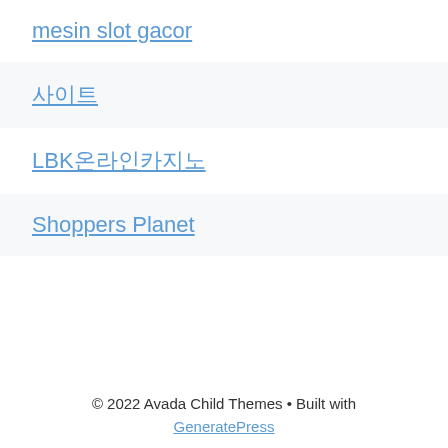mesin slot gacor
사이트
LBK온라인카지노
Shoppers Planet
© 2022 Avada Child Themes • Built with GeneratePress